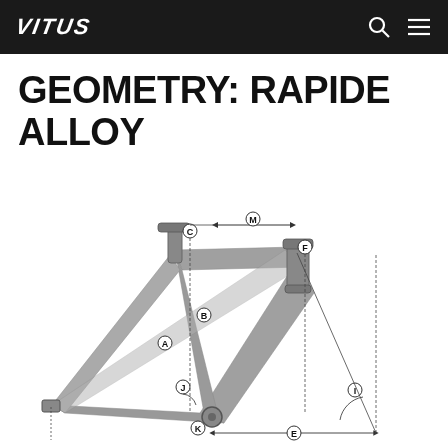VITUS
GEOMETRY: RAPIDE ALLOY
[Figure (engineering-diagram): Bicycle frame geometry diagram for the Vitus Rapide Alloy, showing labeled measurement points A, B, C, E, F, I, J, K, M with dimension lines indicating reach, stack, head tube, top tube, seat tube, chainstay, wheelbase, and angle measurements on a side-profile of a grey alloy road/gravel frame.]